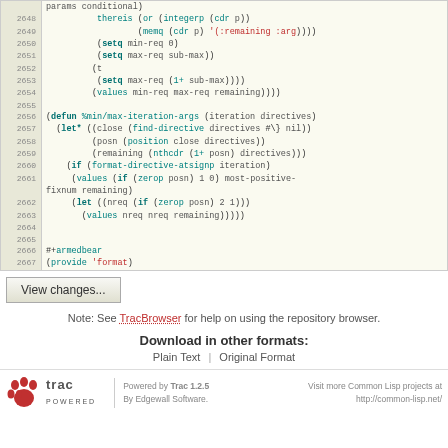[Figure (screenshot): Code viewer showing Lisp source lines 2648-2667 with line numbers, syntax highlighting in teal/cyan for keywords and functions]
View changes...
Note: See TracBrowser for help on using the repository browser.
Download in other formats:
Plain Text | Original Format
Powered by Trac 1.2.5 By Edgewall Software. Visit more Common Lisp projects at http://common-lisp.net/